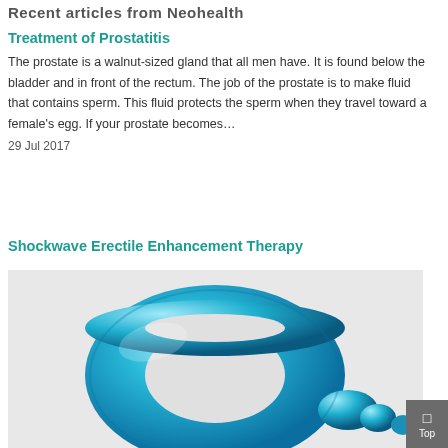Recent articles from Neohealth
Treatment of Prostatitis
The prostate is a walnut-sized gland that all men have. It is found below the bladder and in front of the rectum. The job of the prostate is to make fluid that contains sperm. This fluid protects the sperm when they travel toward a female’s egg. If your prostate becomes…
29 Jul 2017
Shockwave Erectile Enhancement Therapy
[Figure (illustration): A blue 3D ring/donut shape on a light grey background, representing a medical or health-related image for the Shockwave Erectile Enhancement Therapy article.]